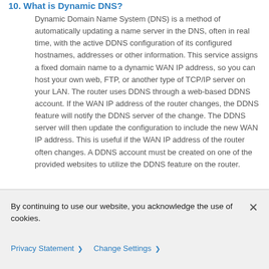10. What is Dynamic DNS?
Dynamic Domain Name System (DNS) is a method of automatically updating a name server in the DNS, often in real time, with the active DDNS configuration of its configured hostnames, addresses or other information. This service assigns a fixed domain name to a dynamic WAN IP address, so you can host your own web, FTP, or another type of TCP/IP server on your LAN. The router uses DDNS through a web-based DDNS account. If the WAN IP address of the router changes, the DDNS feature will notify the DDNS server of the change. The DDNS server will then update the configuration to include the new WAN IP address. This is useful if the WAN IP address of the router often changes. A DDNS account must be created on one of the provided websites to utilize the DDNS feature on the router.
By continuing to use our website, you acknowledge the use of cookies.
Privacy Statement > Change Settings >